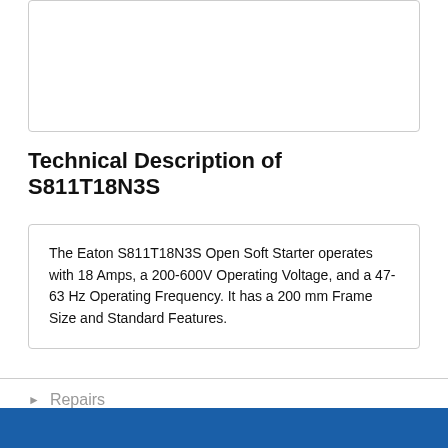[Figure (other): Empty bordered box at top of page]
Technical Description of S811T18N3S
The Eaton S811T18N3S Open Soft Starter operates with 18 Amps, a 200-600V Operating Voltage, and a 47-63 Hz Operating Frequency. It has a 200 mm Frame Size and Standard Features.
Repairs
PDF